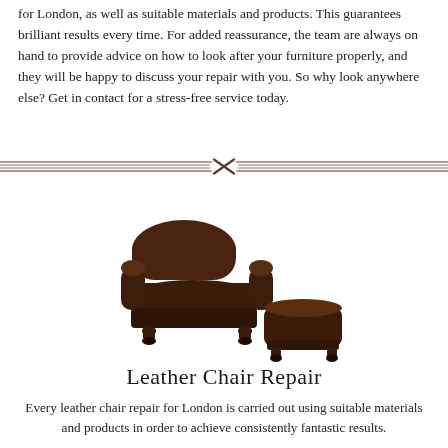for London, as well as suitable materials and products. This guarantees brilliant results every time. For added reassurance, the team are always on hand to provide advice on how to look after your furniture properly, and they will be happy to discuss your repair with you. So why look anywhere else? Get in contact for a stress-free service today.
[Figure (illustration): Decorative horizontal divider with double lines and a central cross/X ornament in dark brown]
[Figure (photo): A dark brown leather armchair with rolled arms and a matching leather ottoman, both with turned wooden feet, photographed on a white background]
Leather Chair Repair
Every leather chair repair for London is carried out using suitable materials and products in order to achieve consistently fantastic results.